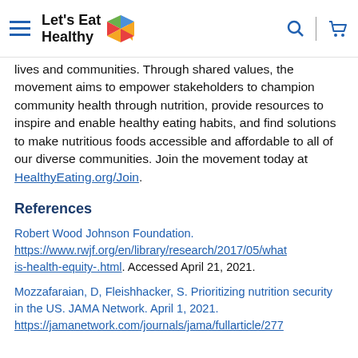Let's Eat Healthy
lives and communities. Through shared values, the movement aims to empower stakeholders to champion community health through nutrition, provide resources to inspire and enable healthy eating habits, and find solutions to make nutritious foods accessible and affordable to all of our diverse communities. Join the movement today at HealthyEating.org/Join.
References
Robert Wood Johnson Foundation. https://www.rwjf.org/en/library/research/2017/05/what-is-health-equity-.html. Accessed April 21, 2021.
Mozzafaraian, D, Fleishhacker, S. Prioritizing nutrition security in the US. JAMA Network. April 1, 2021. https://jamanetwork.com/journals/jama/fullarticle/277...